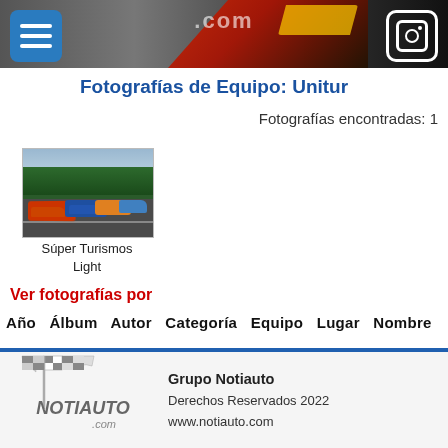Fotografías de Equipo: Unitur
Fotografías encontradas: 1
[Figure (photo): Race cars (Súper Turismos Light) on a track, multiple colorful touring cars in formation]
Súper Turismos Light
Ver fotografías por
Año  Álbum  Autor  Categoría  Equipo  Lugar  Nombre
Grupo Notiauto
Derechos Reservados 2022
www.notiauto.com